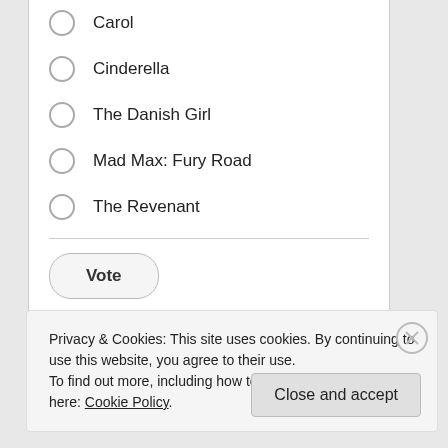Carol
Cinderella
The Danish Girl
Mad Max: Fury Road
The Revenant
Vote
View Results   Crowdsignal.com
Privacy & Cookies: This site uses cookies. By continuing to use this website, you agree to their use. To find out more, including how to control cookies, see here: Cookie Policy
Close and accept